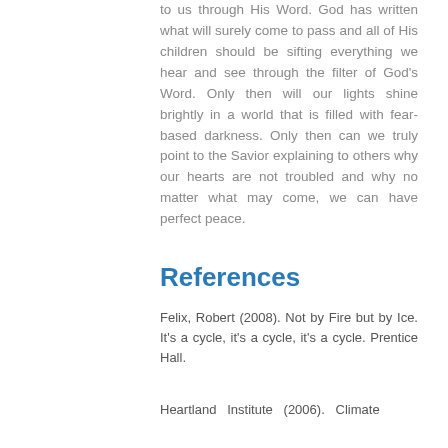to us through His Word. God has written what will surely come to pass and all of His children should be sifting everything we hear and see through the filter of God's Word. Only then will our lights shine brightly in a world that is filled with fear-based darkness. Only then can we truly point to the Savior explaining to others why our hearts are not troubled and why no matter what may come, we can have perfect peace.
References
Felix, Robert (2008). Not by Fire but by Ice. It's a cycle, it's a cycle, it's a cycle. Prentice Hall.
Heartland Institute (2006). Climate